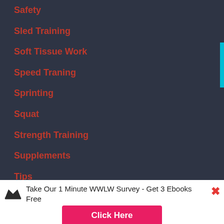Safety
Sled Training
Soft Tissue Work
Speed Traning
Sprinting
Squat
Strength Training
Supplements
Tips
Training Equipment
Training
[Figure (infographic): Social share bar with SMS, WhatsApp, Email, Facebook, Twitter, and Crown icons. Label 'Shares' on the left.]
Take Our 1 Minute WWLW Survey - Get 3 Ebooks Free
Click Here